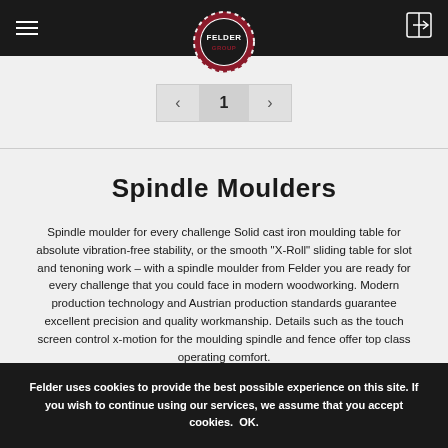[Figure (logo): Felder Group circular logo with gear-like border, dark red and white colors, centered in top navigation bar]
1
Spindle Moulders
Spindle moulder for every challenge Solid cast iron moulding table for absolute vibration-free stability, or the smooth "X-Roll" sliding table for slot and tenoning work – with a spindle moulder from Felder you are ready for every challenge that you could face in modern woodworking. Modern production technology and Austrian production standards guarantee excellent precision and quality workmanship. Details such as the touch screen control x-motion for the moulding spindle and fence offer top class operating comfort.
Felder uses cookies to provide the best possible experience on this site. If you wish to continue using our services, we assume that you accept cookies.  OK.